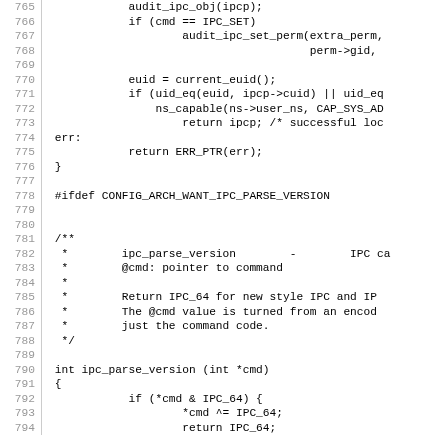Source code listing, lines 765-794, C programming language